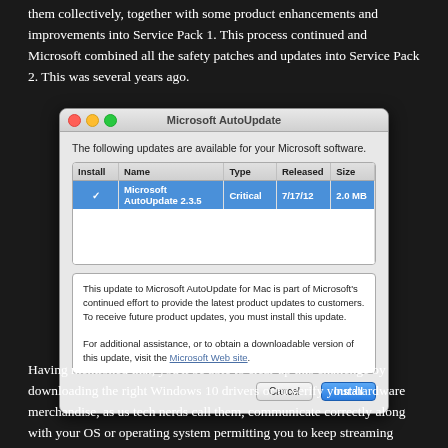them collectively, together with some product enhancements and improvements into Service Pack 1. This process continued and Microsoft combined all the safety patches and updates into Service Pack 2. This was several years ago.
[Figure (screenshot): Microsoft AutoUpdate dialog window on Mac showing a critical update: Microsoft AutoUpdate 2.3.5, Type: Critical, Released: 7/17/12, Size: 2.0 MB. Description box explains the update purpose and links to Microsoft Web site. Cancel and Install buttons at bottom.]
Having mentioned that, you'll be able to clear up this challenge by downloading the right Windows 10 drivers or to verify your hardware merchandise, as us tech nerds call them, communicate correctly along with your OS or operating system permitting you to keep streaming